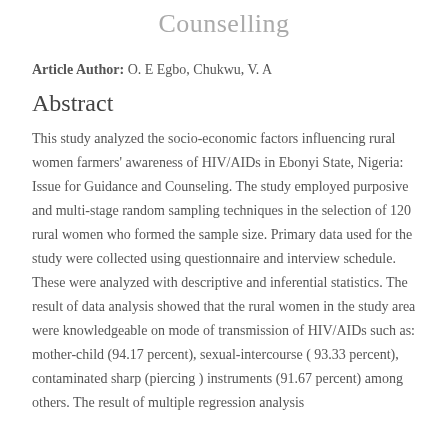Counselling
Article Author: O. E Egbo, Chukwu, V. A
Abstract
This study analyzed the socio-economic factors influencing rural women farmers' awareness of HIV/AIDs in Ebonyi State, Nigeria: Issue for Guidance and Counseling. The study employed purposive and multi-stage random sampling techniques in the selection of 120 rural women who formed the sample size. Primary data used for the study were collected using questionnaire and interview schedule. These were analyzed with descriptive and inferential statistics. The result of data analysis showed that the rural women in the study area were knowledgeable on mode of transmission of HIV/AIDs such as: mother-child (94.17 percent), sexual-intercourse ( 93.33 percent), contaminated sharp (piercing ) instruments (91.67 percent) among others. The result of multiple regression analysis